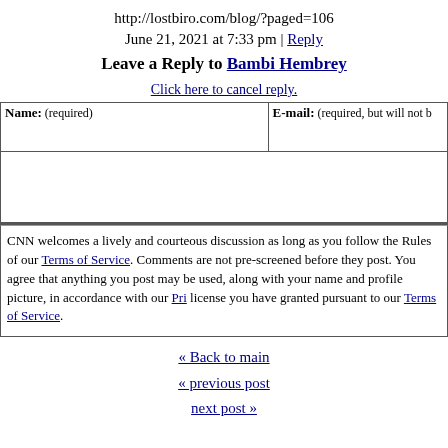http://lostbiro.com/blog/?paged=106
June 21, 2021 at 7:33 pm | Reply
Leave a Reply to Bambi Hembrey
Click here to cancel reply.
| Name: (required) | E-mail: (required, but will not be shown) |
| --- | --- |
CNN welcomes a lively and courteous discussion as long as you follow the Rules of our Terms of Service. Comments are not pre-screened before they post. You agree that anything you post may be used, along with your name and profile picture, in accordance with our Privacy Policy and the license you have granted pursuant to our Terms of Service.
« Back to main
« previous post
next post »